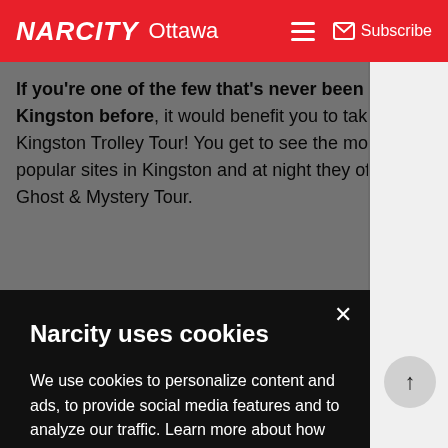NARCITY Ottawa — Subscribe
If you're one of the few that's never been to Kingston before, it would benefit you to take a Kingston Trolley Tour! You get to see the most popular sites in Kingston and at night they offer a Ghost & Mystery Tour.
Narcity uses cookies
We use cookies to personalize content and ads, to provide social media features and to analyze our traffic. Learn more about how we use your data in our cookie policy. By clicking Accept, you allow us to use cookies to give you the best experience on site.
Accept